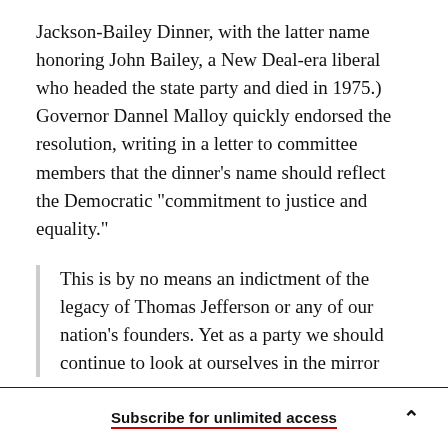Jackson-Bailey Dinner, with the latter name honoring John Bailey, a New Deal-era liberal who headed the state party and died in 1975.) Governor Dannel Malloy quickly endorsed the resolution, writing in a letter to committee members that the dinner's name should reflect the Democratic “commitment to justice and equality.”
This is by no means an indictment of the legacy of Thomas Jefferson or any of our nation’s founders. Yet as a party we should continue to look at ourselves in the mirror
Subscribe for unlimited access